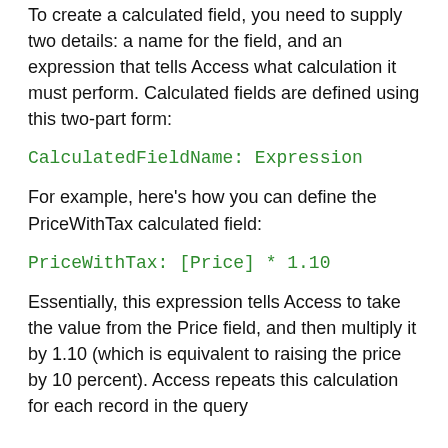To create a calculated field, you need to supply two details: a name for the field, and an expression that tells Access what calculation it must perform. Calculated fields are defined using this two-part form:
For example, here's how you can define the PriceWithTax calculated field:
Essentially, this expression tells Access to take the value from the Price field, and then multiply it by 1.10 (which is equivalent to raising the price by 10 percent). Access repeats this calculation for each record in the query